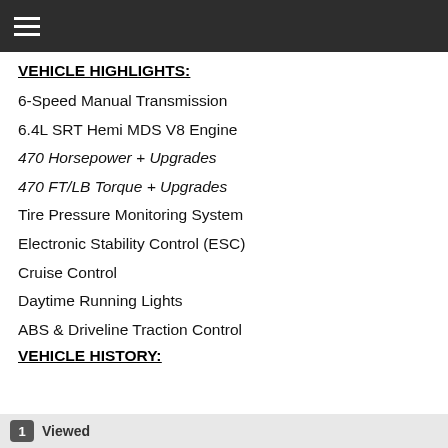☰
VEHICLE HIGHLIGHTS:
6-Speed Manual Transmission
6.4L SRT Hemi MDS V8 Engine
470 Horsepower + Upgrades
470 FT/LB Torque + Upgrades
Tire Pressure Monitoring System
Electronic Stability Control (ESC)
Cruise Control
Daytime Running Lights
ABS & Driveline Traction Control
VEHICLE HISTORY:
1  Viewed